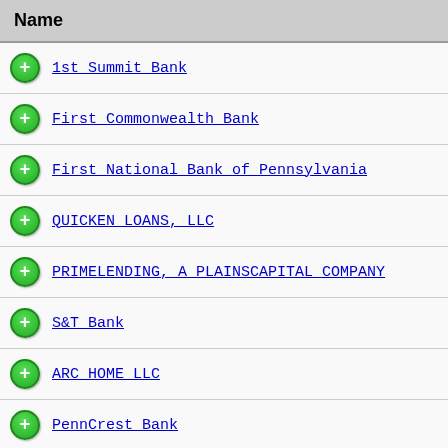Name
1st Summit Bank
First Commonwealth Bank
First National Bank of Pennsylvania
QUICKEN LOANS, LLC
PRIMELENDING, A PLAINSCAPITAL COMPANY
S&T Bank
ARC HOME LLC
PennCrest Bank